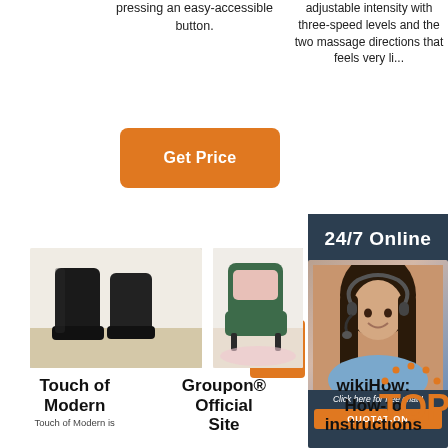pressing an easy-accessible button.
adjustable intensity with three-speed levels and the two massage directions that feels very li...
Get Price
24/7 Online
[Figure (photo): Customer service representative woman with headset smiling]
Click here for free chat !
QUOTATION
G
[Figure (photo): Black suede boots on shelf]
[Figure (photo): Green armchair with pink cushions in styled room]
Touch of Modern
Groupon® Official Site
wikiHow: How-to instructions
Touch of Modern is
[Figure (logo): TOP logo with orange dots/crown design]